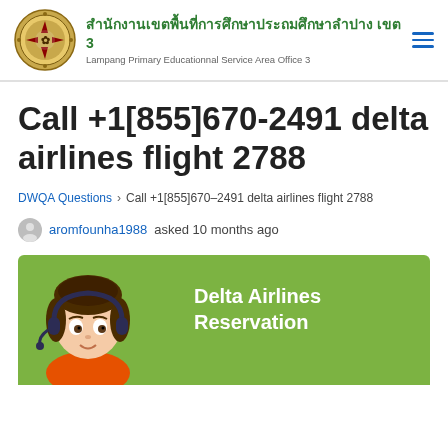สำนักงานเขตพื้นที่การศึกษาประถมศึกษาลำปาง เขต 3 | Lampang Primary Educationnal Service Area Office 3
Call +1[855]670-2491 delta airlines flight 2788
DWQA Questions › Call +1[855]670–2491 delta airlines flight 2788
aromfounha1988 asked 10 months ago
[Figure (illustration): Green banner with animated female character wearing a headset on the left, and bold white text 'Delta Airlines Reservation' on the right]